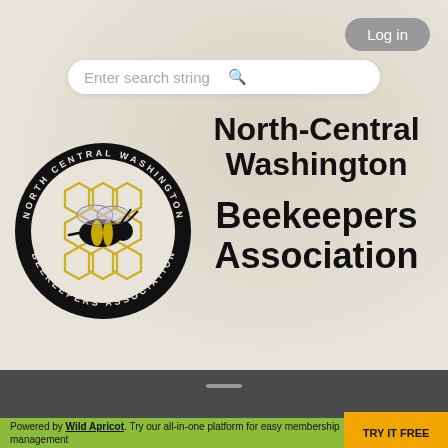Log in
Enter search string
[Figure (logo): North Central Washington Beekeepers Association circular logo with honeycomb pattern and bee illustration in black and gold]
North-Central Washington Beekeepers Association
Powered by Wild Apricot. Try our all-in-one platform for easy membership management
TRY IT FREE